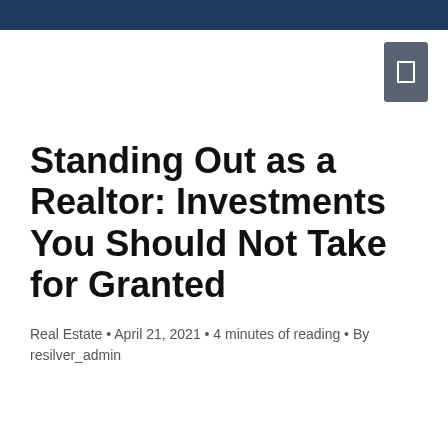Standing Out as a Realtor: Investments You Should Not Take for Granted
Real Estate • April 21, 2021 • 4 minutes of reading • By resilver_admin